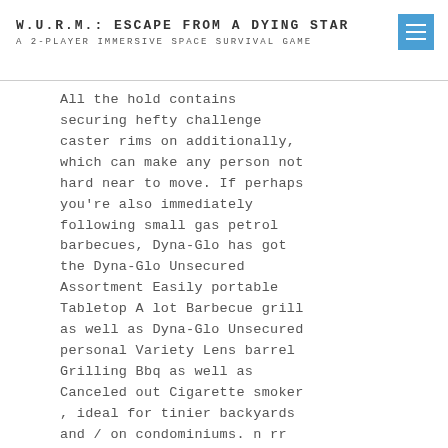W.U.R.M.: ESCAPE FROM A DYING STAR
A 2-PLAYER IMMERSIVE SPACE SURVIVAL GAME
All the hold contains securing hefty challenge caster rims on additionally, which can make any person not hard near to move. If perhaps you’re also immediately following small gas petrol barbecues, Dyna-Glo has got the Dyna-Glo Unsecured Assortment Easily portable Tabletop A lot Barbecue grill as well as Dyna-Glo Unsecured personal Variety Lens barrel Grilling Bbq as well as Canceled out Cigarette smoker , ideal for tinier backyards and / on condominiums. n rr